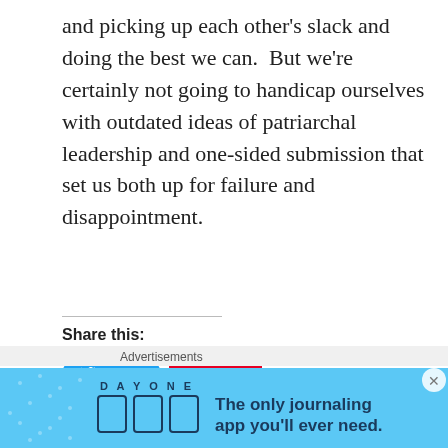and picking up each other's slack and doing the best we can.  But we're certainly not going to handicap ourselves with outdated ideas of patriarchal leadership and one-sided submission that set us both up for failure and disappointment.
Share this:
Tweet  Save  Post  Email  Print
Loading...
JUNE 27, 2009
Advertisements
[Figure (infographic): Day One journaling app advertisement banner with blue background, app icons, and text 'The only journaling app you'll ever need.']